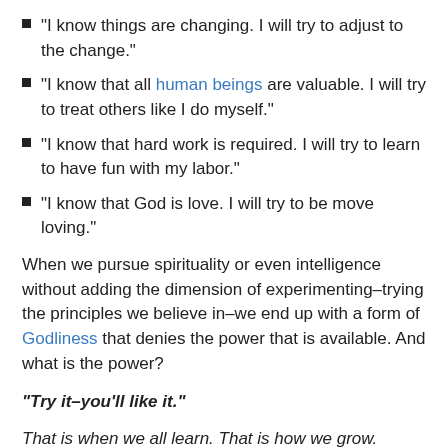“I know things are changing. I will try to adjust to the change.”
“I know that all human beings are valuable. I will try to treat others like I do myself.”
“I know that hard work is required. I will try to learn to have fun with my labor.”
“I know that God is love. I will try to be move loving.”
When we pursue spirituality or even intelligence without adding the dimension of experimenting–trying the principles we believe in–we end up with a form of Godliness that denies the power that is available. And what is the power?
“Try it–you’ll like it.”
That is when we all learn. That is how we grow.